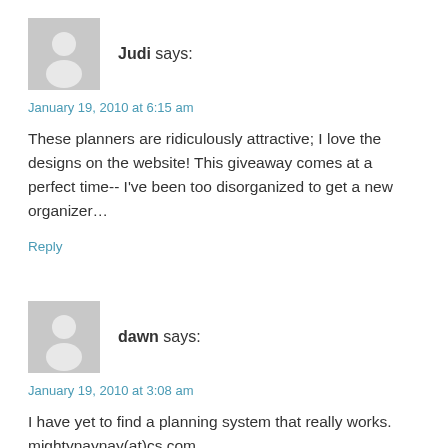[Figure (illustration): Gray placeholder avatar icon for user Judi]
Judi says:
January 19, 2010 at 6:15 am
These planners are ridiculously attractive; I love the designs on the website! This giveaway comes at a perfect time-- I've been too disorganized to get a new organizer...
Reply
[Figure (illustration): Gray placeholder avatar icon for user dawn]
dawn says:
January 19, 2010 at 3:08 am
I have yet to find a planning system that really works. mightynaynay(at)cs.com